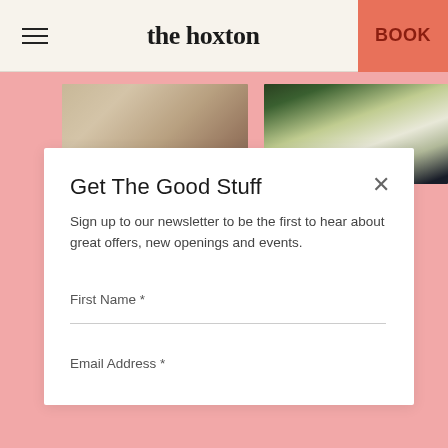the hoxton | BOOK
[Figure (photo): Two partially visible hotel/restaurant interior photos on pink background: left shows wooden furniture/bread, right shows plants and architectural elements]
Get The Good Stuff
Sign up to our newsletter to be the first to hear about great offers, new openings and events.
First Name *
Email Address *